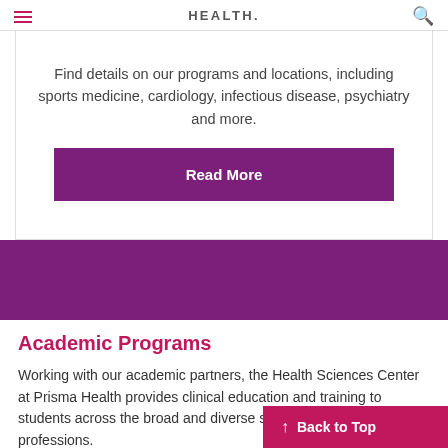HEALTH.
Find details on our programs and locations, including sports medicine, cardiology, infectious disease, psychiatry and more.
Read More
Academic Programs
Working with our academic partners, the Health Sciences Center at Prisma Health provides clinical education and training to students across the broad and diverse spectrum of healthcare professions.
↑ Back to Top